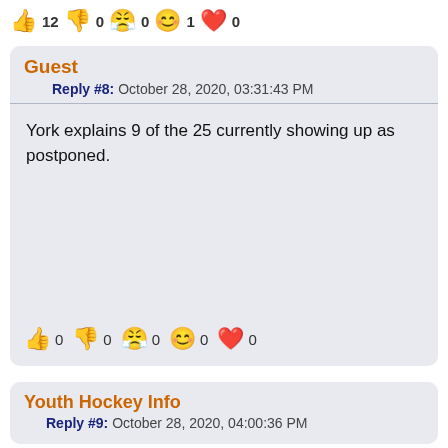👍 12 👎 0 😤 0 😊 1 ❤️ 0
Guest
Reply #8: October 28, 2020, 03:31:43 PM
York explains 9 of the 25 currently showing up as postponed.
👍 0 👎 0 😤 0 😊 0 ❤️ 0
Youth Hockey Info
Reply #9: October 28, 2020, 04:00:36 PM
A generalized FYI for posting rumors and unconfirmed reports.